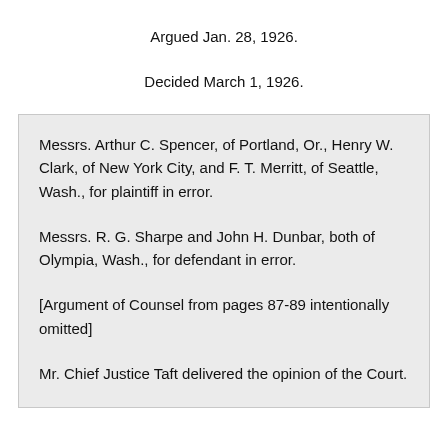Argued Jan. 28, 1926.
Decided March 1, 1926.
Messrs. Arthur C. Spencer, of Portland, Or., Henry W. Clark, of New York City, and F. T. Merritt, of Seattle, Wash., for plaintiff in error.
Messrs. R. G. Sharpe and John H. Dunbar, both of Olympia, Wash., for defendant in error.
[Argument of Counsel from pages 87-89 intentionally omitted]
Mr. Chief Justice Taft delivered the opinion of the Court.